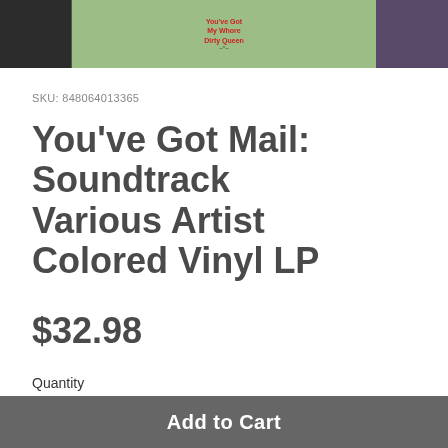[Figure (photo): Partial product image showing a DVD or album cover with green background and text, flanked by dark-clothed figures on left and right sides.]
SKU: 848064013365
You've Got Mail: Soundtrack Various Artist Colored Vinyl LP
$32.98
Quantity
1
Add to Cart